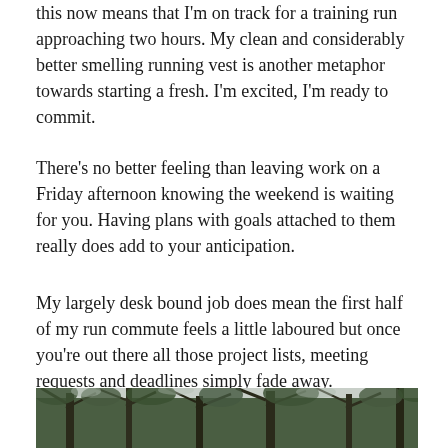this now means that I'm on track for a training run approaching two hours. My clean and considerably better smelling running vest is another metaphor towards starting a fresh. I'm excited, I'm ready to commit.
There's no better feeling than leaving work on a Friday afternoon knowing the weekend is waiting for you. Having plans with goals attached to them really does add to your anticipation.
My largely desk bound job does mean the first half of my run commute feels a little laboured but once you're out there all those project lists, meeting requests and deadlines simply fade away.
[Figure (photo): Outdoor nature photo showing trees with branches and foliage, partially obscured, overcast sky visible through the canopy.]